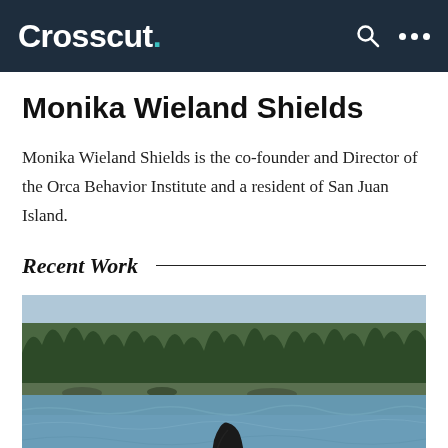Crosscut.
Monika Wieland Shields
Monika Wieland Shields is the co-founder and Director of the Orca Behavior Institute and a resident of San Juan Island.
Recent Work
[Figure (photo): An orca (killer whale) dorsal fin visible above calm blue water, with a forested shoreline and trees in the background.]